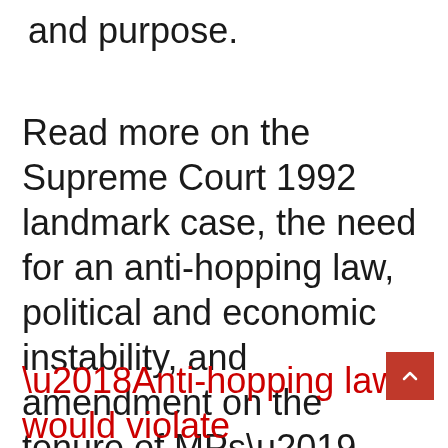and purpose.
Read more on the Supreme Court 1992 landmark case, the need for an anti-hopping law, political and economic instability, and amendment on the tenure of MPs’ term of office:
‘Anti-hopping law would violate